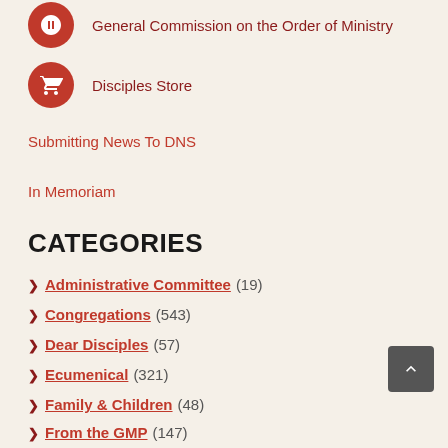General Commission on the Order of Ministry
Disciples Store
Submitting News To DNS
In Memoriam
CATEGORIES
Administrative Committee (19)
Congregations (543)
Dear Disciples (57)
Ecumenical (321)
Family & Children (48)
From the GMP (147)
General (407)